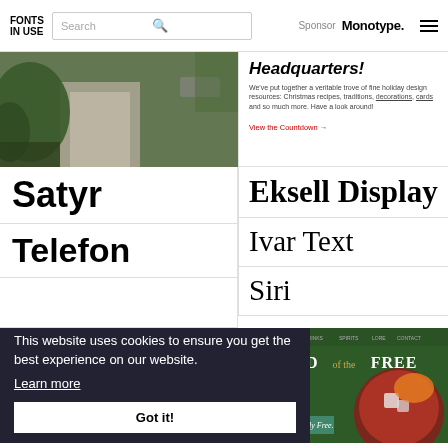FONTS IN USE | Search | Sponsor Monotype.
[Figure (photo): Street/garden path photo on left side]
Headquarters! We've put together a veritable trove of fine holiday design resources: Christmas recipes, traditions, decorations, cards and so much more. Have a look around! View the Countdown →
Satyr
Eksell Display
Telefon
Ivar Text
Siri
[Figure (photo): Black merchandise bag with orange Berlin text]
[Figure (screenshot): Land of the Free website screenshot on green background]
This website uses cookies to ensure you get the best experience on our website. Learn more
Got it!